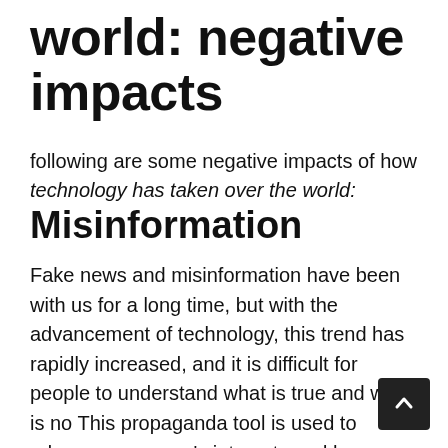world: negative impacts
following are some negative impacts of how technology has taken over the world:
Misinformation
Fake news and misinformation have been with us for a long time, but with the advancement of technology, this trend has rapidly increased, and it is difficult for people to understand what is true and what is not. This propaganda tool is used to advance someone's interests and harm enemies, and